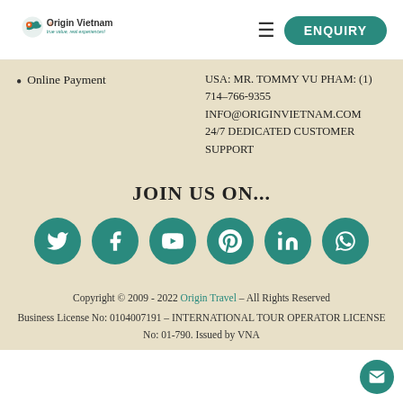Origin Vietnam - true value, real experiences! | ENQUIRY
Online Payment
USA: MR. TOMMY VU PHAM: (1) 714-766-9355
INFO@ORIGINVIETNAM.COM
24/7 DEDICATED CUSTOMER SUPPORT
JOIN US ON...
[Figure (illustration): Six teal circular social media icons: Twitter, Facebook, YouTube, Pinterest, LinkedIn, WhatsApp]
Copyright © 2009 - 2022 Origin Travel - All Rights Reserved
Business License No: 0104007191 – INTERNATIONAL TOUR OPERATOR LICENSE No: 01-790. Issued by VNA